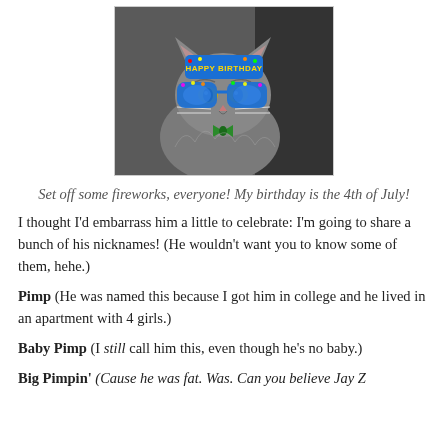[Figure (photo): A gray tabby cat wearing colorful 'Happy Birthday' novelty glasses and a party hat, with a green bow tie, sitting and looking at the camera with an unimpressed expression.]
Set off some fireworks, everyone! My birthday is the 4th of July!
I thought I'd embarrass him a little to celebrate: I'm going to share a bunch of his nicknames! (He wouldn't want you to know some of them, hehe.)
Pimp (He was named this because I got him in college and he lived in an apartment with 4 girls.)
Baby Pimp (I still call him this, even though he's no baby.)
Big Pimpin' (Cause he was fat. Was. Can you believe Jay Z...